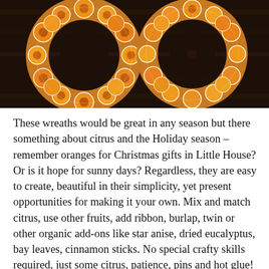[Figure (photo): Two circular wreaths made from dried citrus slices (oranges/lemons) arranged in a circle, photographed against a dark wooden background. The dried fruit slices show warm golden-orange tones.]
These wreaths would be great in any season but there something about citrus and the Holiday season – remember oranges for Christmas gifts in Little House? Or is it hope for sunny days? Regardless, they are easy to create, beautiful in their simplicity, yet present opportunities for making it your own. Mix and match citrus, use other fruits, add ribbon, burlap, twin or other organic add-ons like star anise, dried eucalyptus, bay leaves, cinnamon sticks. No special crafty skills required, just some citrus, patience, pins and hot glue! Play around with the dried fruit and make other decorations too. See a few other ways I used them below. These wreaths are perfect for my Christmas theme this year – gold, white